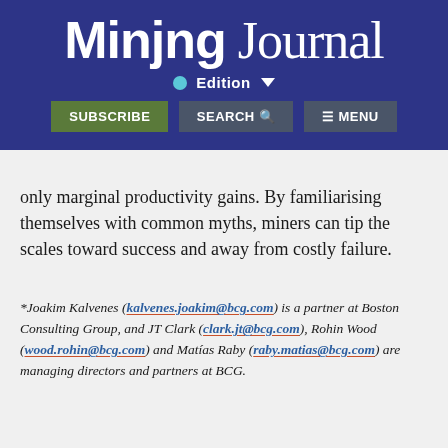[Figure (logo): Mining Journal website header with logo, Edition selector, and navigation buttons (Subscribe, Search, Menu)]
only marginal productivity gains. By familiarising themselves with common myths, miners can tip the scales toward success and away from costly failure.
*Joakim Kalvenes (kalvenes.joakim@bcg.com) is a partner at Boston Consulting Group, and JT Clark (clark.jt@bcg.com), Rohin Wood (wood.rohin@bcg.com) and Matías Raby (raby.matias@bcg.com) are managing directors and partners at BCG.